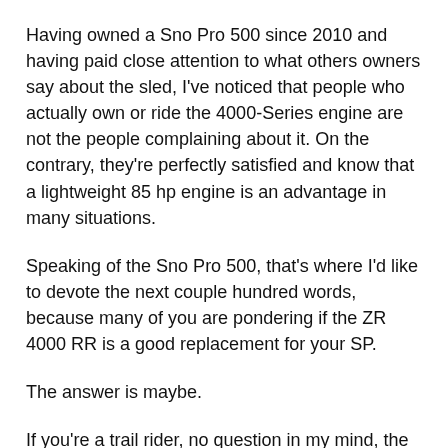Having owned a Sno Pro 500 since 2010 and having paid close attention to what others owners say about the sled, I've noticed that people who actually own or ride the 4000-Series engine are not the people complaining about it. On the contrary, they're perfectly satisfied and know that a lightweight 85 hp engine is an advantage in many situations.
Speaking of the Sno Pro 500, that's where I'd like to devote the next couple hundred words, because many of you are pondering if the ZR 4000 RR is a good replacement for your SP.
The answer is maybe.
If you're a trail rider, no question in my mind, the RR is a better overall machine. It has a way more comfortable seat;